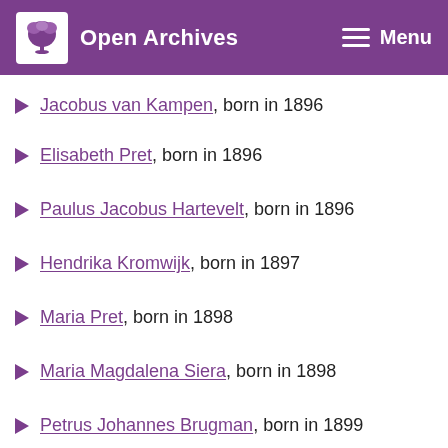Open Archives  Menu
Jacobus van Kampen, born in 1896
Elisabeth Pret, born in 1896
Paulus Jacobus Hartevelt, born in 1896
Hendrika Kromwijk, born in 1897
Maria Pret, born in 1898
Maria Magdalena Siera, born in 1898
Petrus Johannes Brugman, born in 1899
Catharina Johanna Helena Kromwijk, born in 1899
Gerardus Brugman, born in 1899
Alida Hartevelt, born in 1901
Johanna Kromwijk, born in 1902
Willem Hartevelt, born in 1902
Catharina Hartevelt, born in 1904